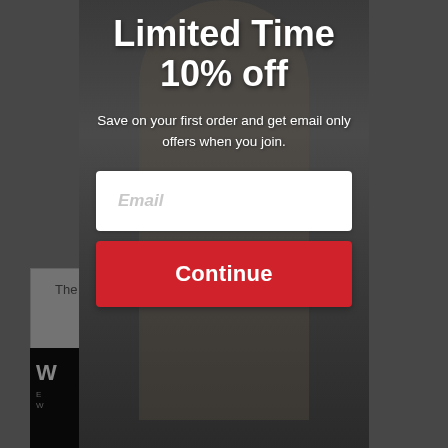[Figure (screenshot): E-commerce website popup modal with dark overlay background. Behind the modal, a clothing website is partially visible with a product card and dark promotional banner.]
Limited Time
10% off
Save on your first order and get email only offers when you join.